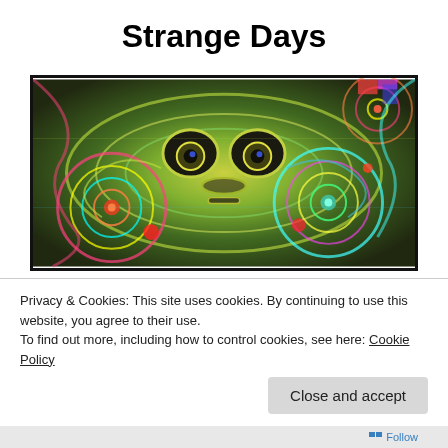Strange Days
[Figure (illustration): Psychedelic digital art featuring a skull-like face with large round eyes surrounded by swirling colorful patterns in green, yellow, cyan, magenta, and red on a dark background]
Privacy & Cookies: This site uses cookies. By continuing to use this website, you agree to their use.
To find out more, including how to control cookies, see here: Cookie Policy
Close and accept